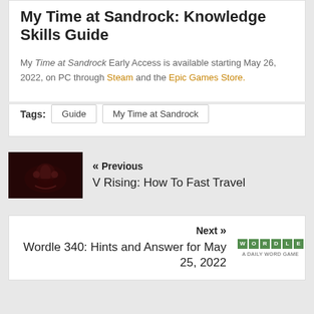My Time at Sandrock: Knowledge Skills Guide
My Time at Sandrock Early Access is available starting May 26, 2022, on PC through Steam and the Epic Games Store.
Tags: Guide  My Time at Sandrock
« Previous
V Rising: How To Fast Travel
Next »
Wordle 340: Hints and Answer for May 25, 2022